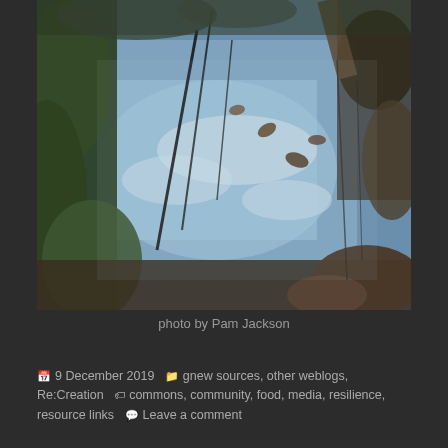[Figure (photo): Overhead view of a still pond or puddle reflecting blue sky and white clouds, surrounded by green vegetation, dark reeds, fallen leaves, and bare tree branches. The water surface shows reflections of trees and sky.]
photo by Pam Jackson
9 December 2019   gnew sources, other weblogs, Re:Creation   commons, community, food, media, resilience, resource links   Leave a comment